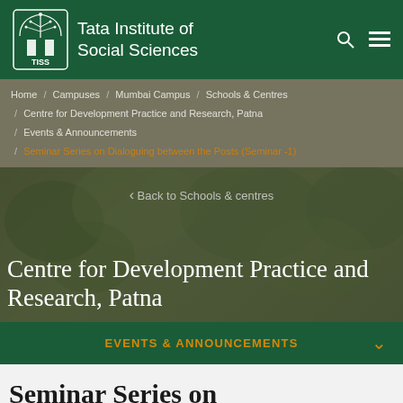Tata Institute of Social Sciences
Home / Campuses / Mumbai Campus / Schools & Centres / Centre for Development Practice and Research, Patna / Events & Announcements / Seminar Series on Dialoguing between the Posts (Seminar -1)
< Back to Schools & centres
Centre for Development Practice and Research, Patna
EVENTS & ANNOUNCEMENTS
Seminar Series on